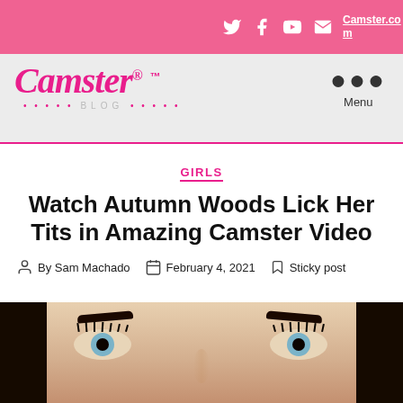Camster.com [social icons: Twitter, Facebook, YouTube, Email]
[Figure (logo): Camster Blog logo in pink italic font with TM mark]
GIRLS
Watch Autumn Woods Lick Her Tits in Amazing Camster Video
By Sam Machado  February 4, 2021  Sticky post
[Figure (photo): Close-up photo of a woman's face with blue eyes, heavy mascara lashes, and dark hair]